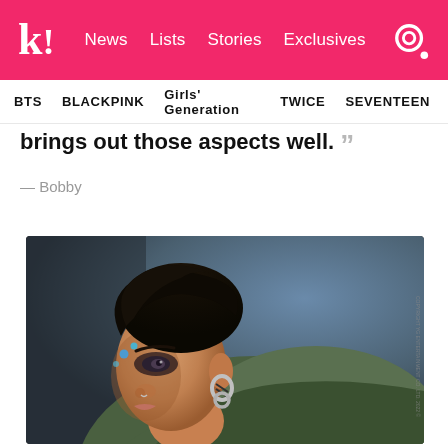k! News Lists Stories Exclusives
BTS BLACKPINK Girls' Generation TWICE SEVENTEEN
brings out those aspects well. ””
— Bobby
[Figure (photo): Close-up promotional photo of Bobby (iKON), with blue gem face accessories near his eye, wearing a chunky earring and a green jacket, looking to the side against a blue-grey background.]